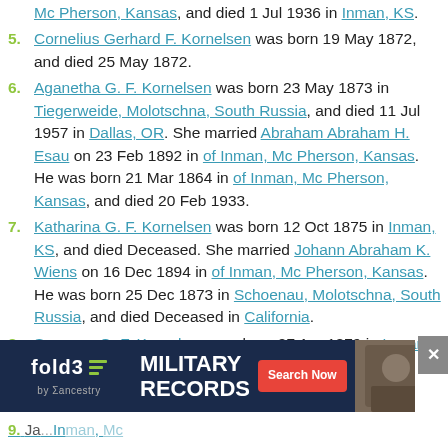Mc Pherson, Kansas, and died 1 Jul 1936 in Inman, KS.
5. Cornelius Gerhard F. Kornelsen was born 19 May 1872, and died 25 May 1872.
6. Aganetha G. F. Kornelsen was born 23 May 1873 in Tiegerweide, Molotschna, South Russia, and died 11 Jul 1957 in Dallas, OR. She married Abraham Abraham H. Esau on 23 Feb 1892 in of Inman, Mc Pherson, Kansas. He was born 21 Mar 1864 in of Inman, Mc Pherson, Kansas, and died 20 Feb 1933.
7. Katharina G. F. Kornelsen was born 12 Oct 1875 in Inman, KS, and died Deceased. She married Johann Abraham K. Wiens on 16 Dec 1894 in of Inman, Mc Pherson, Kansas. He was born 25 Dec 1873 in Schoenau, Molotschna, South Russia, and died Deceased in California.
8. Susanna G. F. Kornelsen was born 27 Apr 1879 in Inman, KS, and died 3 Apr 1939 in Dodge City, Kansas. She married Wilhelm Martin R. Schlichting on 6 Feb 1898 in Inman, KS. He was born 19 Jan 1876 in of Inman, Mc Pherson, Kansas.
[Figure (screenshot): Fold3 by Ancestry advertisement banner for Military Records with Search Now button]
9. Ja... [partially visible] ...KS